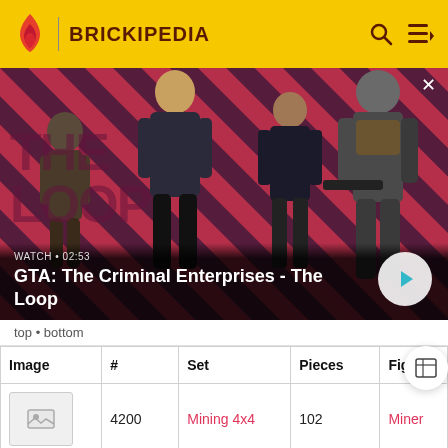BRICKIPEDIA
[Figure (screenshot): GTA: The Criminal Enterprises - The Loop promotional banner with four characters on a red diagonal striped background. WATCH • 02:53 label and play button visible.]
top • bottom
| Image | # | Set | Pieces | Figures |
| --- | --- | --- | --- | --- |
| [image] | 4200 | Mining 4x4 | 102 | Miner |
| [image] | ... | ... | ... | ... |